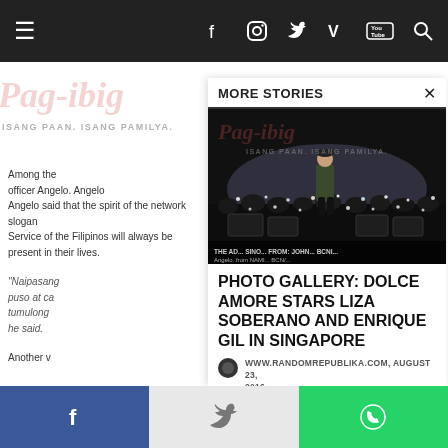Navigation bar with hamburger menu, Facebook, Instagram, Twitter, Vimeo, YouTube, Search icons
MORE STORIES
[Figure (photo): Concert photo showing a performer on stage with large crowd holding up phone lights, with Pag-ibig watermark overlay showing 'ISANG PAAN. ISANG PAMILYA.']
PHOTO GALLERY: DOLCE AMORE STARS LIZA SOBERANO AND ENRIQUE GIL IN SINGAPORE
WWW.RANDOMREPUBLIKA.COM, AUGUST 23, 2016
Among the officer Angelo. Angelo said that the spirit of the network slogan. Service of the Filipinos will always be present in their lives.
"Naipasang puso at ca tumulong he said.
Another v
Facebook share | Twitter share | WhatsApp share